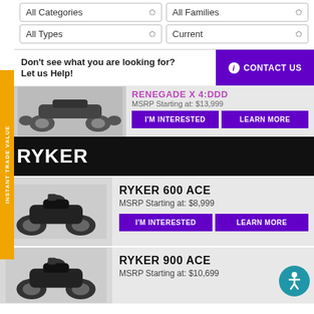All Categories
All Families
All Types
Current
Don't see what you are looking for? Let us Help!
CONTACT US
INSTANT TRADE VALUE
RENEGADE X 4:DDD
MSRP Starting at: $13,999
I'M INTERESTED
LEARN MORE
RYKER
RYKER 600 ACE
MSRP Starting at: $8,999
I'M INTERESTED
LEARN MORE
RYKER 900 ACE
MSRP Starting at: $10,699